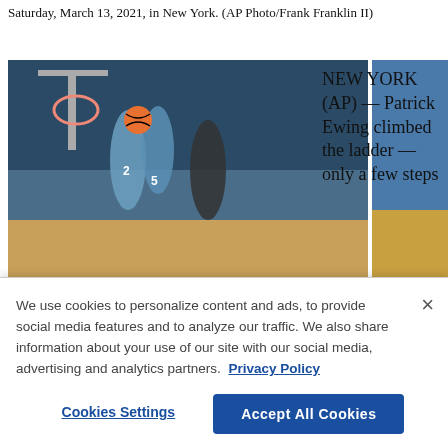Saturday, March 13, 2021, in New York. (AP Photo/Frank Franklin II)
[Figure (photo): Four basketball game photos showing players competing in a game, teams in light blue and black uniforms]
NEW YORK (AP) — Patrick Ewing climbed the ladder — only a few steps
We use cookies to personalize content and ads, to provide social media features and to analyze our traffic. We also share information about your use of our site with our social media, advertising and analytics partners. Privacy Policy
Cookies Settings | Accept All Cookies